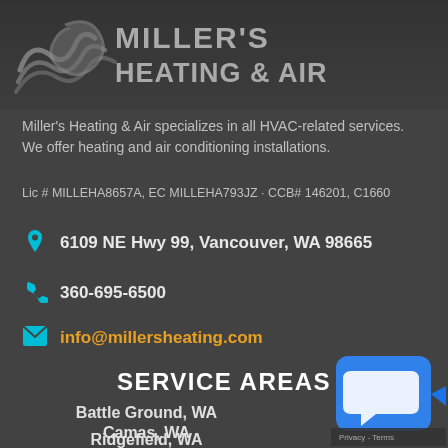[Figure (logo): Miller's Heating & Air logo with wave/swirl icon and bold company name]
Miller's Heating & Air specializes in all HVAC-related services. We offer heating and air conditioning installations.
Lic # MILLEHA8657A, EC MILLEHA793JZ · CCB# 146201, C1660
6109 NE Hwy 99, Vancouver, WA 98665
360-695-6500
info@millersheating.com
SERVICE AREAS
Battle Ground, WA
Camas, WA
Ridgefield, WA